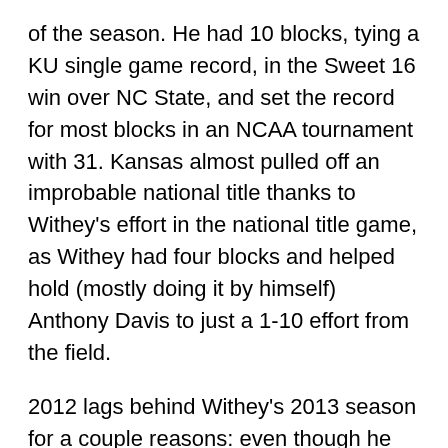of the season. He had 10 blocks, tying a KU single game record, in the Sweet 16 win over NC State, and set the record for most blocks in an NCAA tournament with 31. Kansas almost pulled off an improbable national title thanks to Withey's effort in the national title game, as Withey had four blocks and helped hold (mostly doing it by himself) Anthony Davis to just a 1-10 effort from the field.
2012 lags behind Withey's 2013 season for a couple reasons: even though he was (possibly) better defensively, he wasn't there as an offensive force yet and also didn't play as many minutes. Withey played in just over 60 percent of the team's minutes in 2012, and took under 16 percent of the team's shots while on the floor. Some of that had to do with playing next to Thomas Robinson, but Withey also didn't have the